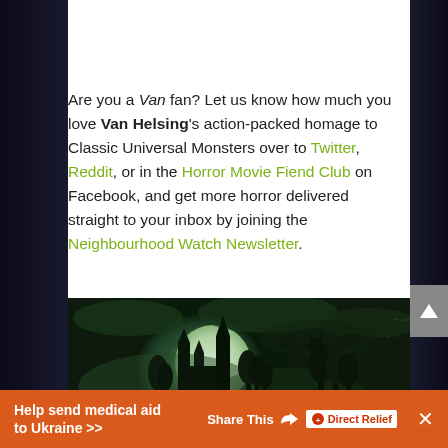Are you a Van fan? Let us know how much you love Van Helsing's action-packed homage to Classic Universal Monsters over to Twitter, Reddit, or in the Horror Movie Fiend Club on Facebook, and get more horror delivered straight to your inbox by joining the Neighbourhood Watch Newsletter.
[Figure (photo): Dark gothic fantasy image with green tones showing a bat flying over a moonlit castle with trees and bats in the background]
Help send medical aid to Ukraine >> Share This [Direct Relief logo] ×